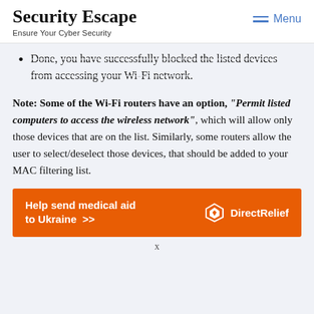Security Escape
Ensure Your Cyber Security
Done, you have successfully blocked the listed devices from accessing your Wi-Fi network.
Note: Some of the Wi-Fi routers have an option, "Permit listed computers to access the wireless network", which will allow only those devices that are on the list. Similarly, some routers allow the user to select/deselect those devices, that should be added to your MAC filtering list.
[Figure (infographic): Orange advertisement banner for Direct Relief: Help send medical aid to Ukraine with Direct Relief logo]